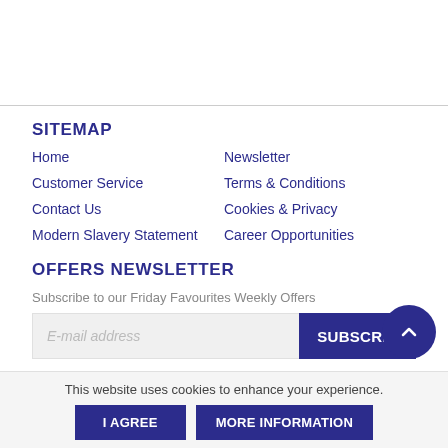SITEMAP
Home
Newsletter
Customer Service
Terms & Conditions
Contact Us
Cookies & Privacy
Modern Slavery Statement
Career Opportunities
OFFERS NEWSLETTER
Subscribe to our Friday Favourites Weekly Offers
E-mail address
SUBSCRIBE
This website uses cookies to enhance your experience.
I AGREE
MORE INFORMATION